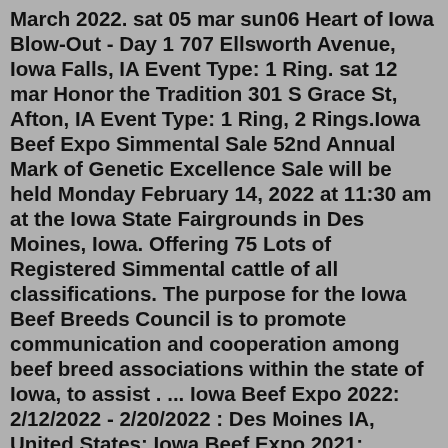March 2022. sat 05 mar sun06 Heart of Iowa Blow-Out - Day 1 707 Ellsworth Avenue, Iowa Falls, IA Event Type: 1 Ring. sat 12 mar Honor the Tradition 301 S Grace St, Afton, IA Event Type: 1 Ring, 2 Rings.Iowa Beef Expo Simmental Sale 52nd Annual Mark of Genetic Excellence Sale will be held Monday February 14, 2022 at 11:30 am at the Iowa State Fairgrounds in Des Moines, Iowa. Offering 75 Lots of Registered Simmental cattle of all classifications. The purpose for the Iowa Beef Breeds Council is to promote communication and cooperation among beef breed associations within the state of Iowa, to assist . ... Iowa Beef Expo 2022: 2/12/2022 - 2/20/2022 : Des Moines IA, United States: Iowa Beef Expo 2021: 2/14/2021 - 2/21/2021 : Des Moines IA, United States: Iowa Beef Expo 2020:Each year people from around the country visit Milwaukee for one of the Midwest's largest cattle expositions – World Beef Expo. Almost 600 exhibitors from 15 states displayed, exhibited, or sold cattle at the 2021 World Beef Expo. The Open and Junior Shows had over 1150 entries. The next